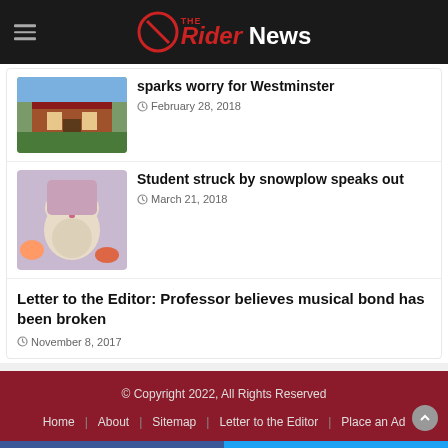The Rider News
sparks worry for Westminster
February 28, 2018
Student struck by snowplow speaks out
March 21, 2018
Letter to the Editor: Professor believes musical bond has been broken
November 8, 2017
© Copyright 2022, All Rights Reserved
Home | About | Sitemap | Letter to the Editor | Place an Ad